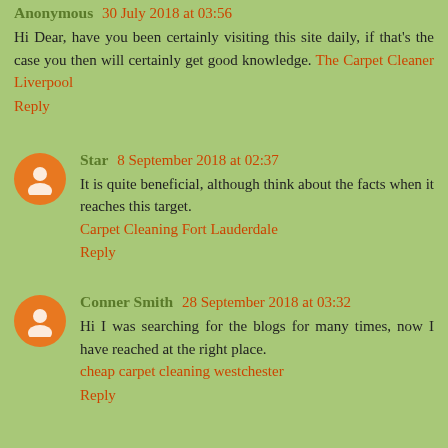Anonymous 30 July 2018 at 03:56
Hi Dear, have you been certainly visiting this site daily, if that's the case you then will certainly get good knowledge. The Carpet Cleaner Liverpool
Reply
Star 8 September 2018 at 02:37
It is quite beneficial, although think about the facts when it reaches this target. Carpet Cleaning Fort Lauderdale
Reply
Conner Smith 28 September 2018 at 03:32
Hi I was searching for the blogs for many times, now I have reached at the right place. cheap carpet cleaning westchester
Reply